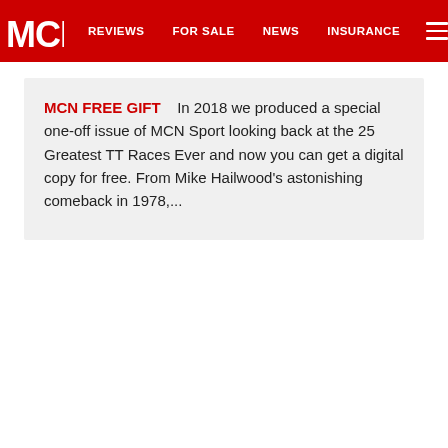MCN | REVIEWS | FOR SALE | NEWS | INSURANCE
MCN FREE GIFT   In 2018 we produced a special one-off issue of MCN Sport looking back at the 25 Greatest TT Races Ever and now you can get a digital copy for free. From Mike Hailwood's astonishing comeback in 1978,...